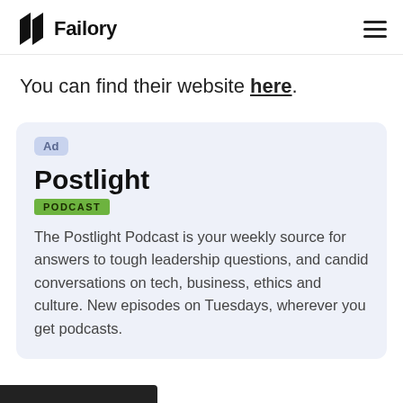Failory
You can find their website here.
[Figure (other): Advertisement card for Postlight Podcast with 'Ad' badge, title 'Postlight', green 'PODCAST' badge, and description text about weekly leadership/tech podcast.]
The Postlight Podcast is your weekly source for answers to tough leadership questions, and candid conversations on tech, business, ethics and culture. New episodes on Tuesdays, wherever you get podcasts.